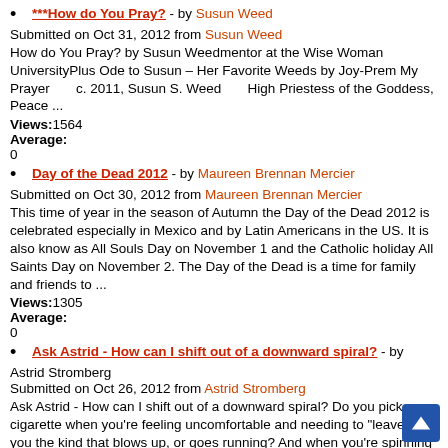***How do You Pray? - by Susun Weed
Submitted on Oct 31, 2012 from Susun Weed
How do You Pray? by Susun Weedmentor at the Wise Woman UniversityPlus Ode to Susun – Her Favorite Weeds by Joy-Prem My Prayer      c. 2011, Susun S. Weed        High Priestess of the Goddess, Peace ...
Views:1564
Average:
0
Day of the Dead 2012 - by Maureen Brennan Mercier
Submitted on Oct 30, 2012 from Maureen Brennan Mercier
This time of year in the season of Autumn the Day of the Dead 2012 is celebrated especially in Mexico and by Latin Americans in the US. It is also know as All Souls Day on November 1 and the Catholic holiday All Saints Day on November 2. The Day of the Dead is a time for family and friends to ...
Views:1305
Average:
0
Ask Astrid - How can I shift out of a downward spiral? - by Astrid Stromberg
Submitted on Oct 26, 2012 from Astrid Stromberg
Ask Astrid - How can I shift out of a downward spiral? Do you pick up a cigarette when you're feeling uncomfortable and needing to "leave". Are you the kind that blows up, or goes running? And when you're spinning down, do you refuse to get out of bed? To take fl... or refuge from going ...
Views:1100